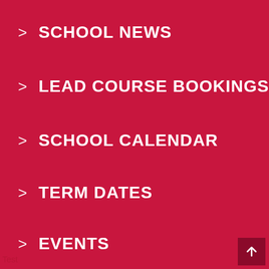> SCHOOL NEWS
> LEAD COURSE BOOKINGS
> SCHOOL CALENDAR
> TERM DATES
> EVENTS
Test